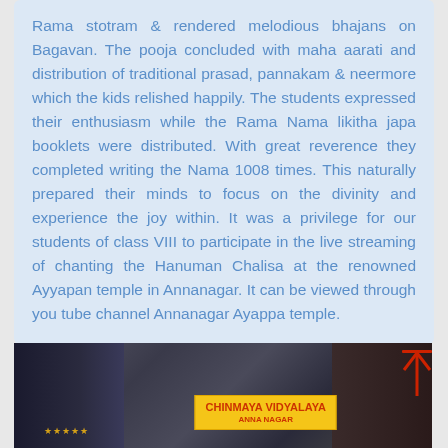Rama stotram & rendered melodious bhajans on Bagavan. The pooja concluded with maha aarati and distribution of traditional prasad, pannakam & neermore which the kids relished happily. The students expressed their enthusiasm while the Rama Nama likitha japa booklets were distributed. With great reverence they completed writing the Nama 1008 times. This naturally prepared their minds to focus on the divinity and experience the joy within. It was a privilege for our students of class VIII to participate in the live streaming of chanting the Hanuman Chalisa at the renowned Ayyapan temple in Annanagar. It can be viewed through you tube channel Annanagar Ayappa temple.
[Figure (photo): Photo of a stage or event with dark curtains in the background and a yellow banner reading 'CHINMAYA VIDYALAYA ANNA NAGAR' in red text. Gold decorative items visible on the left side.]